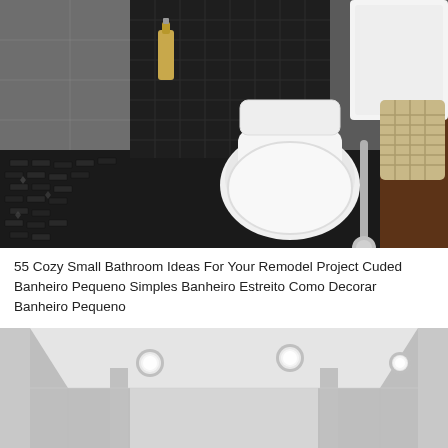[Figure (photo): Modern small bathroom with wall-mounted white toilet on dark mosaic tile floor, white rectangular sink/basin visible on right, dark tile accent wall, bottle in background, chrome pipe/support visible]
55 Cozy Small Bathroom Ideas For Your Remodel Project Cuded Banheiro Pequeno Simples Banheiro Estreito Como Decorar Banheiro Pequeno
[Figure (photo): Modern small narrow bathroom/hallway with white ceiling featuring three recessed circular lights, light gray concrete-style walls, minimalist corridor view from above]